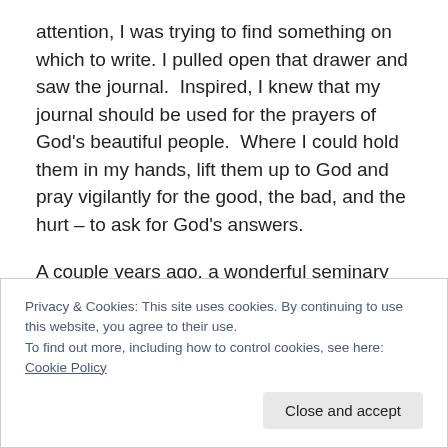attention, I was trying to find something on which to write. I pulled open that drawer and saw the journal. Inspired, I knew that my journal should be used for the prayers of God's beautiful people. Where I could hold them in my hands, lift them up to God and pray vigilantly for the good, the bad, and the hurt – to ask for God's answers.
A couple years ago, a wonderful seminary student came through the Sunday receiving line after church services. He was hurting; he had received a blow in his personal life and reached out, asking for prayer. I told him I would
Privacy & Cookies: This site uses cookies. By continuing to use this website, you agree to their use.
To find out more, including how to control cookies, see here: Cookie Policy